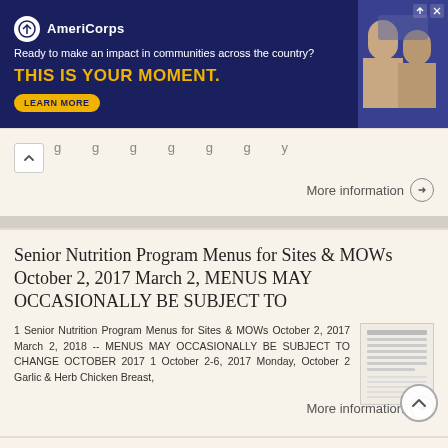[Figure (other): AmeriCorps advertisement banner. Dark navy background with AmeriCorps logo and tagline 'Ready to make an impact in communities across the country? THIS IS YOUR MOMENT.' with a LEARN MORE button and a photo of people working.]
More information →
Senior Nutrition Program Menus for Sites & MOWs October 2, 2017 March 2, MENUS MAY OCCASIONALLY BE SUBJECT TO
1 Senior Nutrition Program Menus for Sites & MOWs October 2, 2017 March 2, 2018 -- MENUS MAY OCCASIONALLY BE SUBJECT TO CHANGE OCTOBER 2017 1 October 2-6, 2017 Monday, October 2 Garlic & Herb Chicken Breast,
More information →
October Calendar of Events WIN $500 GIFT